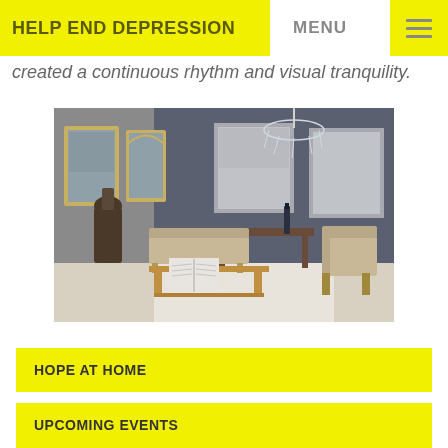HELP END DEPRESSION  MENU
created a continuous rhythm and visual tranquility.
[Figure (photo): Interior room scene with a wooden coffee table with an open book on it, chairs, a sofa, a chandelier, abstract paintings on a dark blue-grey wall, and framed mirrors with yellow frames.]
HOPE AT HOME
UPCOMING EVENTS